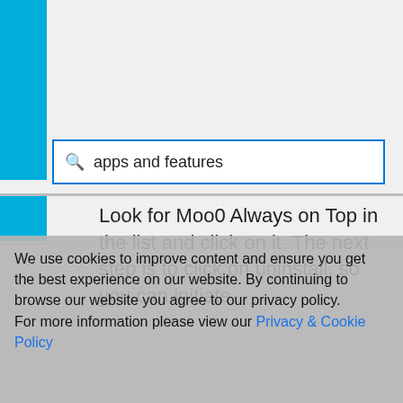[Figure (screenshot): Windows search bar with text 'apps and features' typed in a search box with a blue border, set against a grey background with a teal/blue vertical bar on the left side.]
Look for Moo0 Always on Top in the list and click on it. The next step is to click on uninstall, so you can initiate
We use cookies to improve content and ensure you get the best experience on our website. By continuing to browse our website you agree to our privacy policy.
For more information please view our Privacy & Cookie Policy
I agree